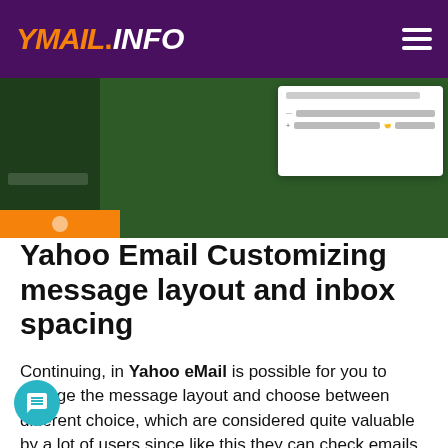YMAIL.INFO
[Figure (screenshot): Screenshot of Yahoo Mail interface showing dark green sidebar and a dropdown settings panel with options on right side]
Yahoo Email Customizing message layout and inbox spacing
Continuing, in Yahoo eMail is possible for you to change the message layout and choose between different choice, which are considered quite valuable by a lot of users since like this they can check emails and their